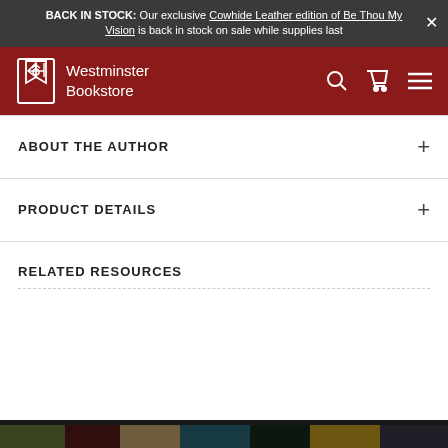BACK IN STOCK: Our exclusive Cowhide Leather edition of Be Thou My Vision is back in stock on sale while supplies last
[Figure (screenshot): Westminster Bookstore navigation bar with logo, search icon, cart icon, and menu icon on dark red background]
ABOUT THE AUTHOR
PRODUCT DETAILS
RELATED RESOURCES
[Figure (photo): Bottom banner showing book spines including 'Song of Songs' and other books with dark overlay, and text 'Sign up for our newsletter for exclusive deals on']